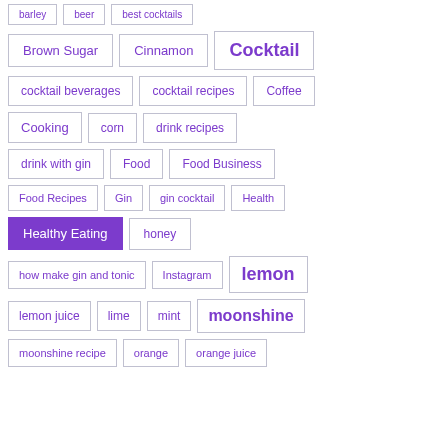barley
beer
best cocktails
Brown Sugar
Cinnamon
Cocktail
cocktail beverages
cocktail recipes
Coffee
Cooking
corn
drink recipes
drink with gin
Food
Food Business
Food Recipes
Gin
gin cocktail
Health
Healthy Eating
honey
how make gin and tonic
Instagram
lemon
lemon juice
lime
mint
moonshine
moonshine recipe
orange
orange juice